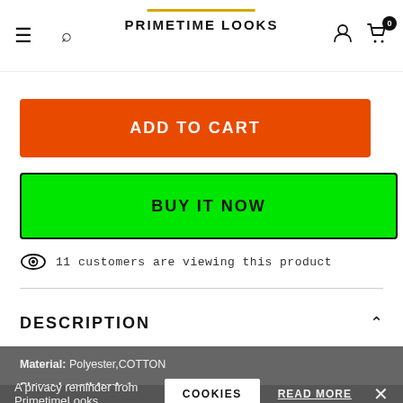PRIMETIME LOOKS
ADD TO CART
BUY IT NOW
11 customers are viewing this product
DESCRIPTION
Material: Polyester,COTTON
Sleeve Length(cm): 1
Clothing Length: REGULAR
Closure Type: Double Bre
Hooded: No
A privacy reminder from PrimetimeLooks
COOKIES
READ MORE